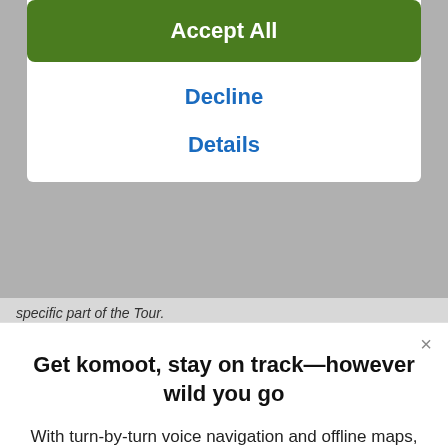Accept All
Decline
Details
specific part of the Tour.
Get komoot, stay on track—however wild you go
With turn-by-turn voice navigation and offline maps, the komoot app will always keep your adventure on track, even when the internet's down or unreliable.
[Figure (other): Download on the App Store button (black rounded rectangle with Apple logo)]